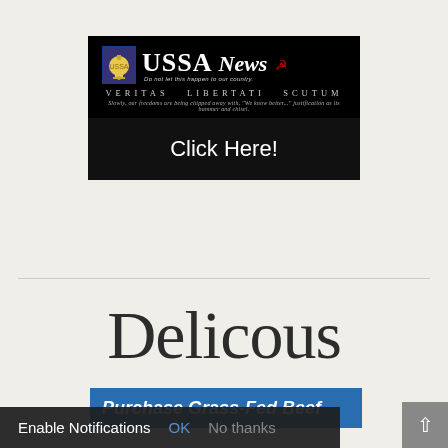[Figure (screenshot): USSA News banner advertisement with black background, liberty bell logo, USSA News title text, 'VERITAS LIBERTATI SCUTUM' subtitle, and 'Click Here!' call-to-action button]
Delicous
[Figure (screenshot): Blue banner with bold italic text 'Purchase Grass-Fed Beef']
Enable Notifications  OK  No thanks